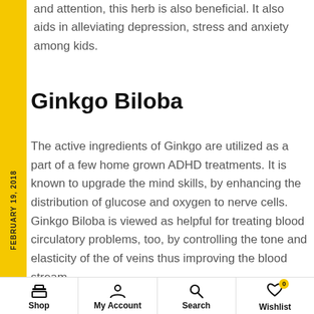and attention, this herb is also beneficial. It also aids in alleviating depression, stress and anxiety among kids.
Ginkgo Biloba
The active ingredients of Ginkgo are utilized as a part of a few home grown ADHD treatments. It is known to upgrade the mind skills, by enhancing the distribution of glucose and oxygen to nerve cells. Ginkgo Biloba is viewed as helpful for treating blood circulatory problems, too, by controlling the tone and elasticity of the of veins thus improving the blood stream.
Shop | My Account | Search | Wishlist